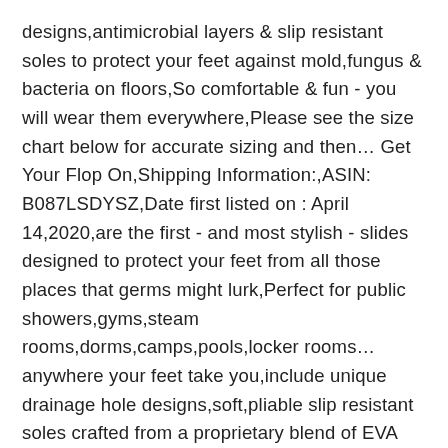designs,antimicrobial layers & slip resistant soles to protect your feet against mold,fungus & bacteria on floors,So comfortable & fun - you will wear them everywhere,Please see the size chart below for accurate sizing and then… Get Your Flop On,Shipping Information:,ASIN: B087LSDYSZ,Date first listed on : April 14,2020,are the first - and most stylish - slides designed to protect your feet from all those places that germs might lurk,Perfect for public showers,gyms,steam rooms,dorms,camps,pools,locker rooms… anywhere your feet take you,include unique drainage hole designs,soft,pliable slip resistant soles crafted from a proprietary blend of EVA and rubber that protect you from slips while protecting your feet against mold,fungus & bacteria on floors,Choose a fun design for each member of the family,started as an idea born out of a